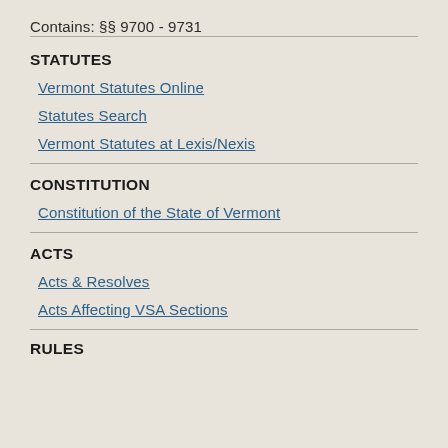Contains: §§ 9700 - 9731
STATUTES
Vermont Statutes Online
Statutes Search
Vermont Statutes at Lexis/Nexis
CONSTITUTION
Constitution of the State of Vermont
ACTS
Acts & Resolves
Acts Affecting VSA Sections
RULES